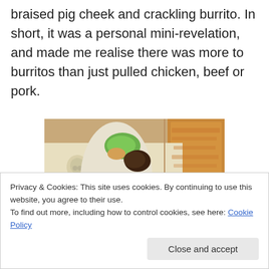braised pig cheek and crackling burrito. In short, it was a personal mini-revelation, and made me realise there was more to burritos than just pulled chicken, beef or pork.
[Figure (photo): A close-up photo of a braised pig cheek and crackling burrito in a paper-lined takeaway box, with a small pot of sauce beside it. Branded skull-logo wrapping paper visible in the background.]
Privacy & Cookies: This site uses cookies. By continuing to use this website, you agree to their use.
To find out more, including how to control cookies, see here: Cookie Policy